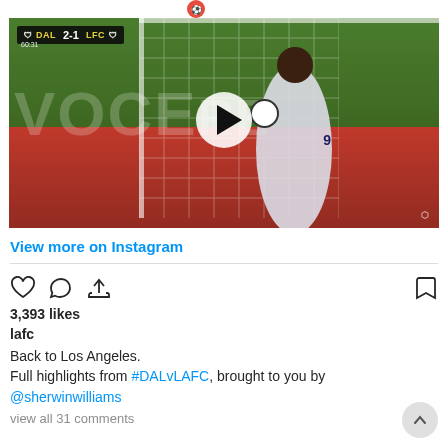[Figure (screenshot): Instagram video post showing a soccer/football match video thumbnail. Score overlay shows DAL 2-1 LFC at 60:31. A player in white jersey number 9 holds a ball near the goal net. Red advertising banner in background. White play button overlay in center. MLS logo watermark bottom right.]
View more on Instagram
3,393 likes
lafc
Back to Los Angeles.
Full highlights from #DALvLAFC, brought to you by @sherwinwilliams
view all 31 comments